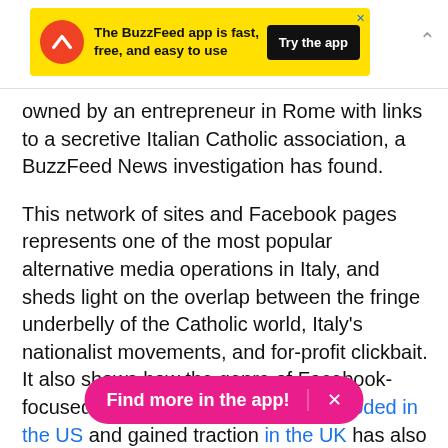[Figure (other): BuzzFeed app advertisement banner with yellow background, red circular logo with upward arrow, text 'The BuzzFeed app is fast, free, and easy to use', and black 'Try the app' button]
owned by an entrepreneur in Rome with links to a secretive Italian Catholic association, a BuzzFeed News investigation has found.
This network of sites and Facebook pages represents one of the most popular alternative media operations in Italy, and sheds light on the overlap between the fringe underbelly of the Catholic world, Italy's nationalist movements, and for-profit clickbait. It also shows how the genre of Facebook-focused hyperpartisan news that exploded in the US and gained traction in the UK has also taken hold in Italy, where this network often reaches as many people on Facebook as [obscured] est mainstream n[obscured]